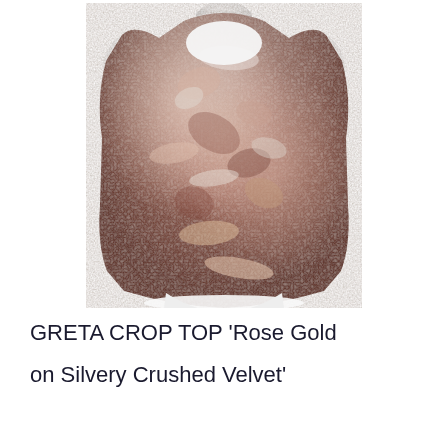[Figure (photo): A rose gold and silvery crushed velvet crop top displayed on a white mannequin torso against a white background. The top is sleeveless with a scoop neck and fitted silhouette.]
GRETA CROP TOP 'Rose Gold on Silvery Crushed Velvet'